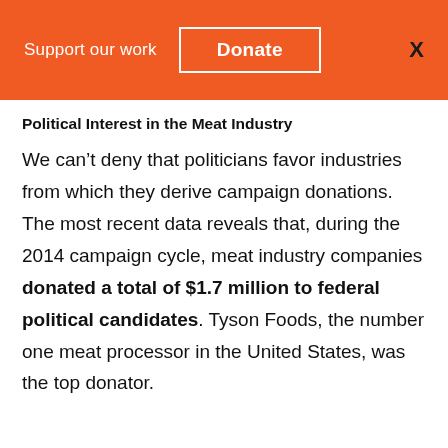Support our work  Donate  X
Political Interest in the Meat Industry
We can’t deny that politicians favor industries from which they derive campaign donations. The most recent data reveals that, during the 2014 campaign cycle, meat industry companies donated a total of $1.7 million to federal political candidates. Tyson Foods, the number one meat processor in the United States, was the top donator.